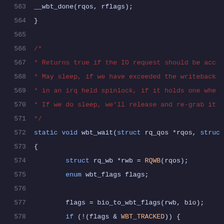[Figure (screenshot): Source code snippet in C showing lines 563-584 of a kernel writeback throttle implementation, with syntax highlighting. Lines include closing brace, comment block explaining wbt_wait function, function signature, and function body with struct declarations, flag assignments, conditionals, and function calls.]